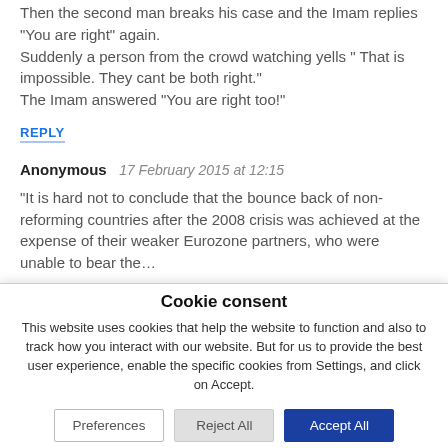Then the second man breaks his case and the Imam replies "You are right" again. Suddenly a person from the crowd watching yells " That is impossible. They cant be both right." The Imam answered "You are right too!"
REPLY
Anonymous   17 February 2015 at 12:15
"It is hard not to conclude that the bounce back of non-reforming countries after the 2008 crisis was achieved at the expense of their weaker Eurozone partners, who were unable to bear the..."
Cookie consent
This website uses cookies that help the website to function and also to track how you interact with our website. But for us to provide the best user experience, enable the specific cookies from Settings, and click on Accept.
Preferences
Reject All
Accept All